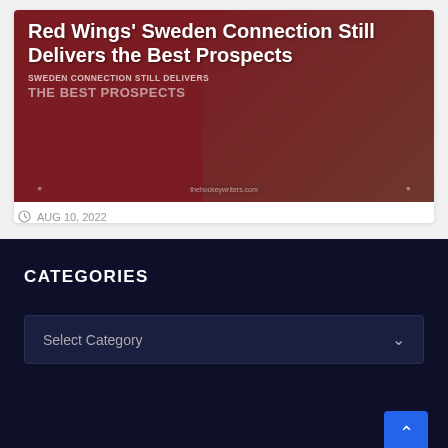[Figure (photo): Hockey article card image with dark red background showing text overlay: 'Red Wings' Sweden Connection Still Delivers the Best Prospects' with decorative banner text and thehockeywriters.com watermark]
AUG 10, 2022
CATEGORIES
Select Category